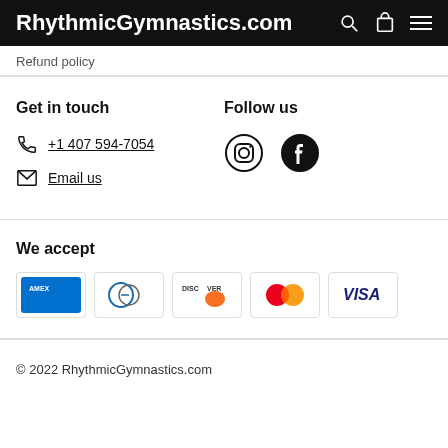RhythmicGymnastics.com
Refund policy
Get in touch
+1 407 594-7054
Email us
Follow us
[Figure (logo): Instagram and Facebook social media icons]
We accept
[Figure (logo): Payment method logos: American Express, Diners Club, Discover, Mastercard, Visa]
© 2022 RhythmicGymnastics.com